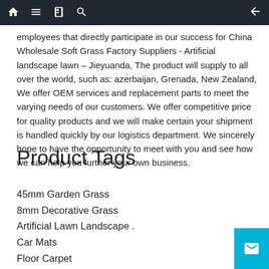navigation bar with home, menu, book, search icons and back arrow
employees that directly participate in our success for China Wholesale Soft Grass Factory Suppliers - Artificial landscape lawn – Jieyuanda, The product will supply to all over the world, such as: azerbaijan, Grenada, New Zealand, We offer OEM services and replacement parts to meet the varying needs of our customers. We offer competitive price for quality products and we will make certain your shipment is handled quickly by our logistics department. We sincerely hope to have the opportunity to meet with you and see how we can help you further your own business.
Product Tags
45mm Garden Grass
8mm Decorative Grass
Artificial Lawn Landscape .
Car Mats
Floor Carpet
Lanscape Synthetic Turf